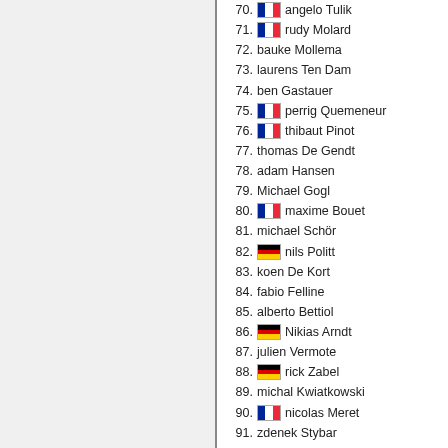70. [FR] angelo Tulik
71. [FR] rudy Molard
72. bauke Mollema
73. laurens Ten Dam
74. ben Gastauer
75. [FR] perrig Quemeneur
76. [FR] thibaut Pinot
77. thomas De Gendt
78. adam Hansen
79. Michael Gogl
80. [FR] maxime Bouet
81. michael Schör
82. [DE] nils Politt
83. koen De Kort
84. fabio Felline
85. alberto Bettiol
86. [DE] Nikias Arndt
87. julien Vermote
88. [DE] rick Zabel
89. michal Kwiatkowski
90. [FR] nicolas Meret
91. zdenek Stybar
92. dario Cataldo
93. [DE] paul Martens
94. marco Haller
95. diego Ulissi
96. Maurits Lammertink
97. jurgen Roelandts